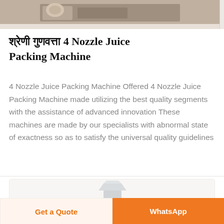[Figure (photo): Top portion of a product listing page showing a kitchen or industrial setting image, cropped at top]
□□□□□□□□ □□□□□□□□ 4 Nozzle Juice Packing Machine
4 Nozzle Juice Packing Machine Offered 4 Nozzle Juice Packing Machine made utilizing the best quality segments with the assistance of advanced innovation These machines are made by our specialists with abnormal state of exactness so as to satisfy the universal quality guidelines
[Figure (photo): Bottom card showing partial image of a 4 nozzle juice packing machine, metallic industrial equipment]
Get a Quote   WhatsApp